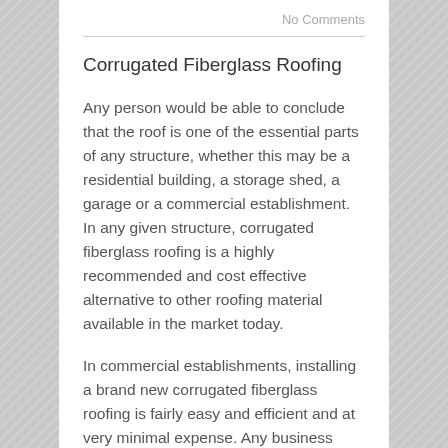No Comments
Corrugated Fiberglass Roofing
Any person would be able to conclude that the roof is one of the essential parts of any structure, whether this may be a residential building, a storage shed, a garage or a commercial establishment. In any given structure, corrugated fiberglass roofing is a highly recommended and cost effective alternative to other roofing material available in the market today.
In commercial establishments, installing a brand new corrugated fiberglass roofing is fairly easy and efficient and at very minimal expense. Any business owner would want to start their business at the soonest possible time, or would prefer that their business operations